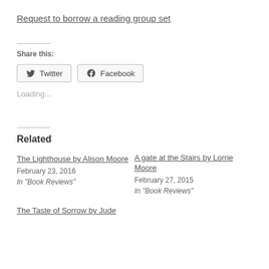Request to borrow a reading group set
Share this:
[Figure (other): Twitter social share button]
[Figure (other): Facebook social share button]
Loading...
Related
The Lighthouse by Alison Moore
February 23, 2016
In "Book Reviews"
A gate at the Stairs by Lorrie Moore
February 27, 2015
In "Book Reviews"
The Taste of Sorrow by Jude